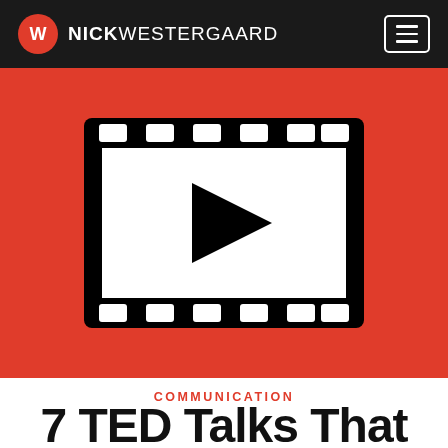NICK WESTERGAARD
[Figure (illustration): Film strip / video player icon: a black-outlined film reel frame with white interior and a black play button triangle in the center, on a red background]
COMMUNICATION
7 TED Talks That